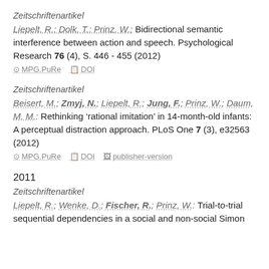Zeitschriftenartikel
Liepelt, R.; Dolk, T.; Prinz, W.: Bidirectional semantic interference between action and speech. Psychological Research 76 (4), S. 446 - 455 (2012)
MPG.PuRe  DOI
Zeitschriftenartikel
Beisert, M.; Zmyj, N.; Liepelt, R.; Jung, F.; Prinz, W.; Daum, M. M.: Rethinking ‘rational imitation’ in 14-month-old infants: A perceptual distraction approach. PLoS One 7 (3), e32563 (2012)
MPG.PuRe  DOI  publisher-version
2011
Zeitschriftenartikel
Liepelt, R.; Wenke, D.; Fischer, R.; Prinz, W.: Trial-to-trial sequential dependencies in a social and non-social Simon